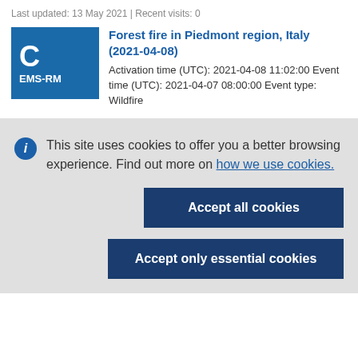Last updated: 13 May 2021 | Recent visits: 0
[Figure (logo): Blue EMS-RM badge with letter C]
Forest fire in Piedmont region, Italy (2021-04-08)
Activation time (UTC): 2021-04-08 11:02:00 Event time (UTC): 2021-04-07 08:00:00 Event type: Wildfire
This site uses cookies to offer you a better browsing experience. Find out more on how we use cookies.
Accept all cookies
Accept only essential cookies